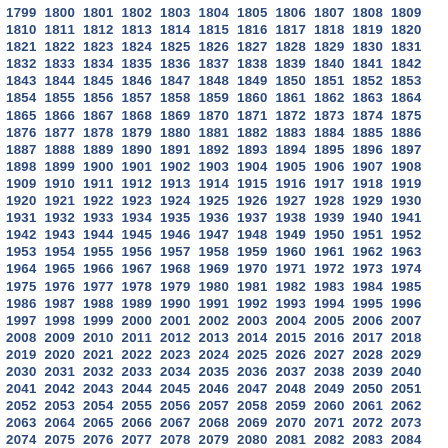1799 1800 1801 1802 1803 1804 1805 1806 1807 1808 1809 1810 1811 1812 1813 1814 1815 1816 1817 1818 1819 1820 1821 1822 1823 1824 1825 1826 1827 1828 1829 1830 1831 1832 1833 1834 1835 1836 1837 1838 1839 1840 1841 1842 1843 1844 1845 1846 1847 1848 1849 1850 1851 1852 1853 1854 1855 1856 1857 1858 1859 1860 1861 1862 1863 1864 1865 1866 1867 1868 1869 1870 1871 1872 1873 1874 1875 1876 1877 1878 1879 1880 1881 1882 1883 1884 1885 1886 1887 1888 1889 1890 1891 1892 1893 1894 1895 1896 1897 1898 1899 1900 1901 1902 1903 1904 1905 1906 1907 1908 1909 1910 1911 1912 1913 1914 1915 1916 1917 1918 1919 1920 1921 1922 1923 1924 1925 1926 1927 1928 1929 1930 1931 1932 1933 1934 1935 1936 1937 1938 1939 1940 1941 1942 1943 1944 1945 1946 1947 1948 1949 1950 1951 1952 1953 1954 1955 1956 1957 1958 1959 1960 1961 1962 1963 1964 1965 1966 1967 1968 1969 1970 1971 1972 1973 1974 1975 1976 1977 1978 1979 1980 1981 1982 1983 1984 1985 1986 1987 1988 1989 1990 1991 1992 1993 1994 1995 1996 1997 1998 1999 2000 2001 2002 2003 2004 2005 2006 2007 2008 2009 2010 2011 2012 2013 2014 2015 2016 2017 2018 2019 2020 2021 2022 2023 2024 2025 2026 2027 2028 2029 2030 2031 2032 2033 2034 2035 2036 2037 2038 2039 2040 2041 2042 2043 2044 2045 2046 2047 2048 2049 2050 2051 2052 2053 2054 2055 2056 2057 2058 2059 2060 2061 2062 2063 2064 2065 2066 2067 2068 2069 2070 2071 2072 2073 2074 2075 2076 2077 2078 2079 2080 2081 2082 2083 2084 2085 2086 2087 2088 2089 2090 2091 2092 2093 2094 2095 2096 2097 2098 2099 2100 2101 2102 2103 2104 2105 2106 2107 2108 2109 2110 2111 2112 2113 2114 2115 2116 2117 2118 2119 2120 2121 2122 2123 2124 2125 2126 2127 2128 2129 2130 2131 2132 2133 2134 2135 2136 2137 2138 2139 2140 2141 2142 2143 2144 2145 2146 2147 2148 2149 2150 2151 2152 2153 2154 2155 2156 2157 2158 2159 2160 2161 2162